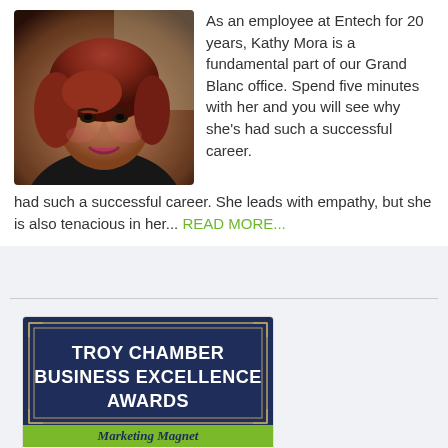[Figure (photo): Portrait photo of Kathy Mora, a woman with reddish-brown hair]
As an employee at Entech for 20 years, Kathy Mora is a fundamental part of our Grand Blanc office. Spend five minutes with her and you will see why she's had such a successful career. She leads with empathy, but she is also tenacious in her... READ MORE...
[Figure (infographic): Troy Chamber Business Excellence Awards banner with dark navy background, gold border decorations, and a green Marketing Magnet subtitle bar at the bottom]